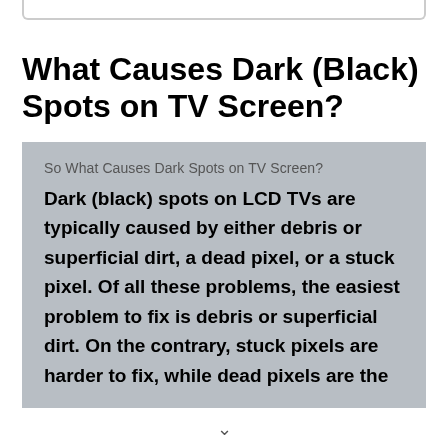What Causes Dark (Black) Spots on TV Screen?
So What Causes Dark Spots on TV Screen? Dark (black) spots on LCD TVs are typically caused by either debris or superficial dirt, a dead pixel, or a stuck pixel. Of all these problems, the easiest problem to fix is debris or superficial dirt. On the contrary, stuck pixels are harder to fix, while dead pixels are the [hardest to fix]